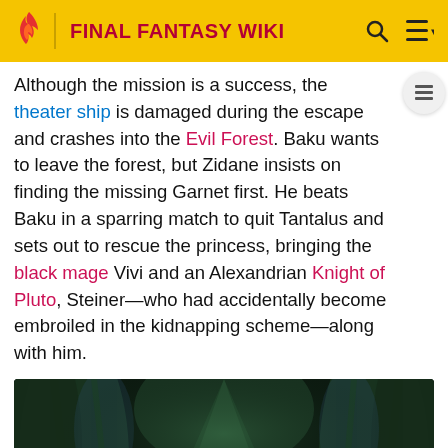FINAL FANTASY WIKI
Although the mission is a success, the theater ship is damaged during the escape and crashes into the Evil Forest. Baku wants to leave the forest, but Zidane insists on finding the missing Garnet first. He beats Baku in a sparring match to quit Tantalus and sets out to rescue the princess, bringing the black mage Vivi and an Alexandrian Knight of Pluto, Steiner—who had accidentally become embroiled in the kidnapping scheme—along with him.
[Figure (screenshot): Game screenshot of characters standing in the Evil Forest, a dark dense forest with large blue-green trees and dim lighting. Several characters appear at the bottom of the frame.]